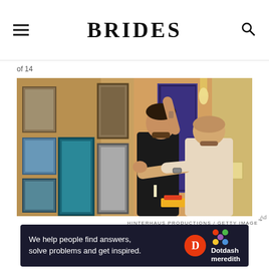BRIDES
of 14
[Figure (photo): Two men hanging framed pictures on a wall in a hallway. One man in a black t-shirt reaches up to position a frame, while another man in a light-colored t-shirt helps align it. The hallway has warm yellow/orange walls and several framed artworks.]
HINTERHAUS PRODUCTIONS / GETTY IMAGE
[Figure (other): Dotdash Meredith advertisement banner with text: We help people find answers, solve problems and get inspired.]